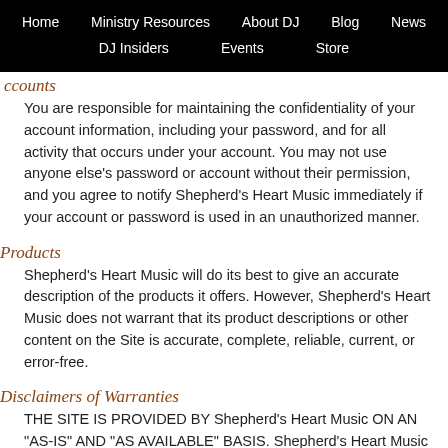Home | Ministry Resources | About DJ | Blog | News | DJ Insiders | Events | Store
Accounts
You are responsible for maintaining the confidentiality of your account information, including your password, and for all activity that occurs under your account. You may not use anyone else's password or account without their permission, and you agree to notify Shepherd's Heart Music immediately if your account or password is used in an unauthorized manner.
Products
Shepherd's Heart Music will do its best to give an accurate description of the products it offers. However, Shepherd's Heart Music does not warrant that its product descriptions or other content on the Site is accurate, complete, reliable, current, or error-free.
Disclaimers of Warranties
THE SITE IS PROVIDED BY Shepherd's Heart Music ON AN "AS-IS" AND "AS AVAILABLE" BASIS. Shepherd's Heart Music MAKES NO REPRESENTATIONS OR WARRANTIES OF ANY KIND, EXPRESS